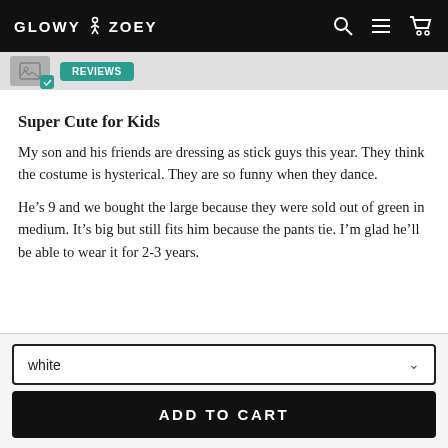GLOWY ZOEY
[Figure (screenshot): Thumbnail image with teal checkmark badge and teal pill button in sub-navigation bar]
Super Cute for Kids
My son and his friends are dressing as stick guys this year. They think the costume is hysterical. They are so funny when they dance.
He’s 9 and we bought the large because they were sold out of green in medium. It’s big but still fits him because the pants tie. I’m glad he’ll be able to wear it for 2-3 years.
white
ADD TO CART